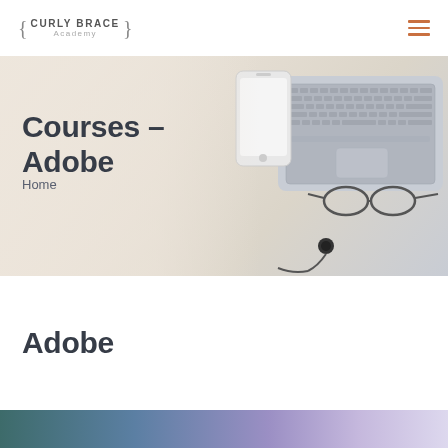{ CURLY BRACE } Academy
Courses - Adobe
Home
Adobe
[Figure (photo): Hero banner background showing a flat-lay of a smartphone, laptop with keyboard, eyeglasses, and lavalier microphone on a light wood desk surface]